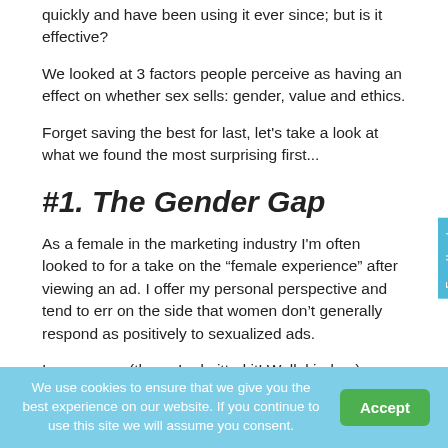quickly and have been using it ever since; but is it effective?
We looked at 3 factors people perceive as having an effect on whether sex sells: gender, value and ethics.
Forget saving the best for last, let's take a look at what we found the most surprising first...
#1. The Gender Gap
As a female in the marketing industry I'm often looked to for a take on the "female experience" after viewing an ad. I offer my personal perspective and tend to err on the side that women don't generally respond as positively to sexualized ads.
I was wrong (there, I admitted it! Well, kinda...).
The crew over at Mythbusters tested this in another
We use cookies to ensure that we give you the best experience on our website. If you continue to use this site we will assume you consent.